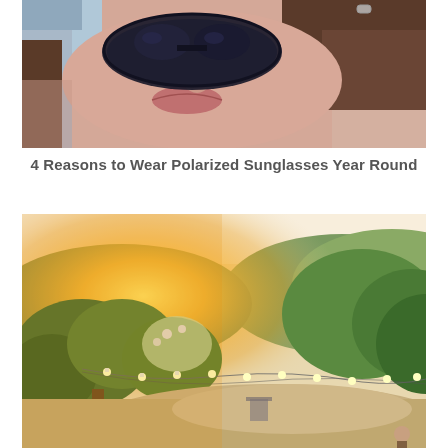[Figure (photo): Close-up photo of a woman lying down, wearing large dark sunglasses, with short dark hair and a ring visible.]
4 Reasons to Wear Polarized Sunglasses Year Round
[Figure (photo): Outdoor garden/patio scene at golden hour sunset with string lights hanging between trees, green hills in background, warm orange-yellow light.]